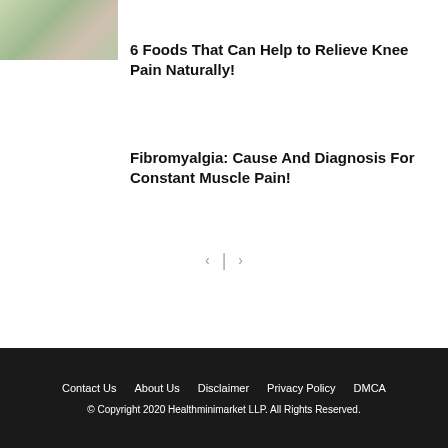[Figure (photo): Thumbnail image of food or plant related to knee pain relief]
6 Foods That Can Help to Relieve Knee Pain Naturally!
Fibromyalgia: Cause And Diagnosis For Constant Muscle Pain!
Contact Us  About Us  Disclaimer  Privacy Policy  DMCA
© Copyright 2020 Healthminimarket LLP. All Rights Reserved.